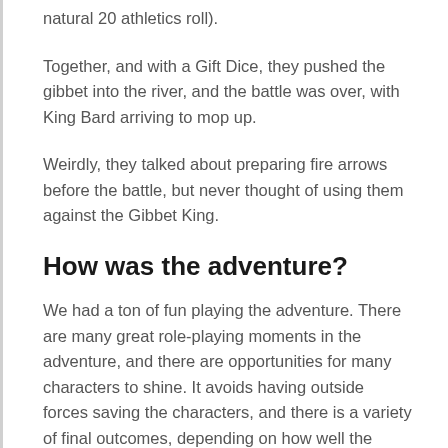natural 20 athletics roll).
Together, and with a Gift Dice, they pushed the gibbet into the river, and the battle was over, with King Bard arriving to mop up.
Weirdly, they talked about preparing fire arrows before the battle, but never thought of using them against the Gibbet King.
How was the adventure?
We had a ton of fun playing the adventure. There are many great role-playing moments in the adventure, and there are opportunities for many characters to shine. It avoids having outside forces saving the characters, and there is a variety of final outcomes, depending on how well the player's fare in the final